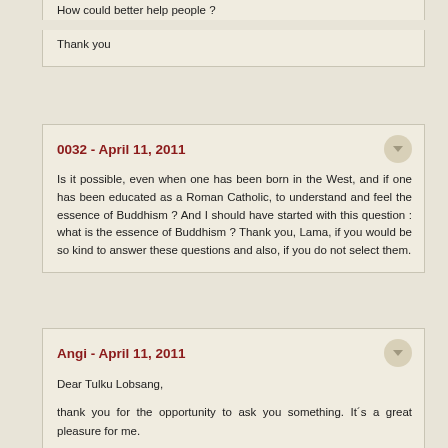How could better help people?
Thank you
0032 - April 11, 2011
Is it possible, even when one has been born in the West, and if one has been educated as a Roman Catholic, to understand and feel the essence of Buddhism ? And I should have started with this question : what is the essence of Buddhism ? Thank you, Lama, if you would be so kind to answer these questions and also, if you do not select them.
Angi - April 11, 2011
Dear Tulku Lobsang,
thank you for the opportunity to ask you something. It´s a great pleasure for me.
My questions are:
Why do people get sick?
How is it possible to get well?
The last difficult of my questions are...